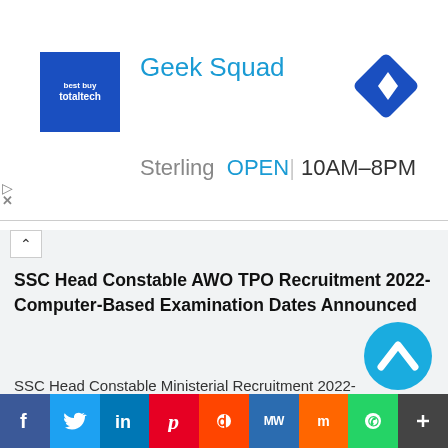[Figure (screenshot): Advertisement banner for Geek Squad / Best Buy Total Tech with blue logo, navigation arrow icon, showing Sterling location OPEN 10AM-8PM]
SSC Head Constable AWO TPO Recruitment 2022- Computer-Based Examination Dates Announced
SSC Head Constable Ministerial Recruitment 2022- Computer-Based Examination Dates Announced
Telangana Police Driver Operator Recruitment 2022- New Prelims Exam Date Announced
[Figure (screenshot): Social sharing bar with icons for Facebook, Twitter, LinkedIn, Pinterest, Reddit, MeWe, Mix, WhatsApp, and More]